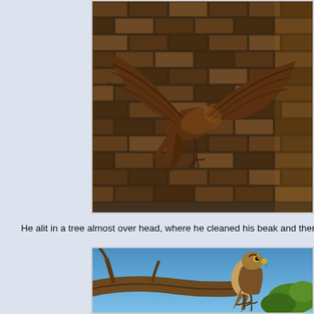[Figure (photo): A hawk or falcon in flight with wings spread wide, photographed against a dark brick wall background with warm golden light illuminating the bird.]
He alit in a tree almost over head, where he cleaned his beak and then perched fo
[Figure (photo): A hawk or falcon perched on a tree branch against a bright blue sky, with some green foliage visible. The bird has streaked brown and white plumage.]